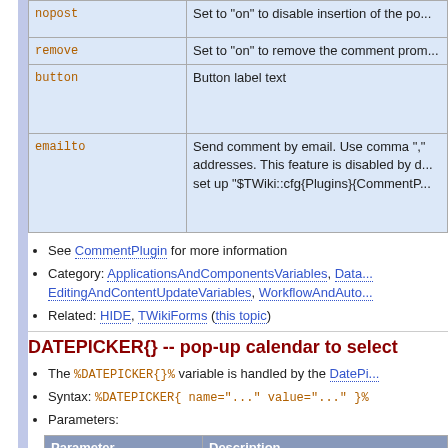| Parameter | Description |
| --- | --- |
| nopost | Set to "on" to disable insertion of the p... |
| remove | Set to "on" to remove the comment prom... |
| button | Button label text |
| emailto | Send comment by email. Use comma ","... addresses. This feature is disabled by d... set up "$TWiki::cfg{Plugins}{CommentP... |
See CommentPlugin for more information
Category: ApplicationsAndComponentsVariables, Data... EditingAndContentUpdateVariables, WorkflowAndAuto...
Related: HIDE, TWikiForms (this topic)
DATEPICKER{} -- pop-up calendar to select
The %DATEPICKER{}% variable is handled by the DatePi...
Syntax: %DATEPICKER{ name="..." value="..." }%
Parameters:
| Parameter | Description |
| --- | --- |
| name | Name of input field.
φ: No output is shown if the name para... missing, but the CSS and Javascript are |